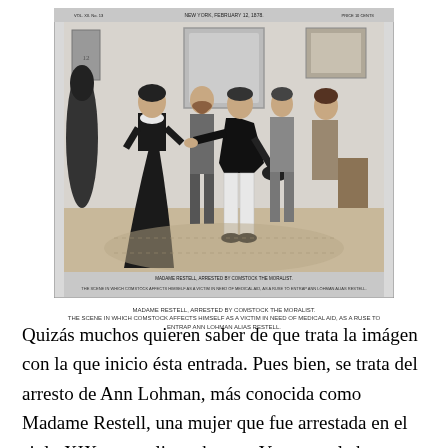[Figure (illustration): 19th century black and white engraving/illustration from a newspaper showing several figures in Victorian-era clothing in an interior scene. A woman in a black dress stands on the left, facing men who appear to be confronting or arresting her. The image has a header text indicating it is from New York and small caption text at the bottom.]
Madame Restell arrested by Comstock the moralist. The scene in which Comstock effects himself as a victim in need of medical aid, as a ruse to entrap Ann Lohman alias Madame Restell.
Quizás muchos quieren saber de que trata la imágen con la que inicio ésta entrada. Pues bien, se trata del arresto de Ann Lohman, más conocida como Madame Restell, una mujer que fue arrestada en el siglo XIX por realizar abortos. Y es que el aborto, no sólo fue un problema hace